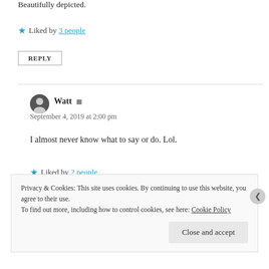Beautifully depicted.
★ Liked by 3 people
REPLY
Watt
September 4, 2019 at 2:00 pm
I almost never know what to say or do. Lol.
★ Liked by 2 people
Privacy & Cookies: This site uses cookies. By continuing to use this website, you agree to their use.
To find out more, including how to control cookies, see here: Cookie Policy
Close and accept